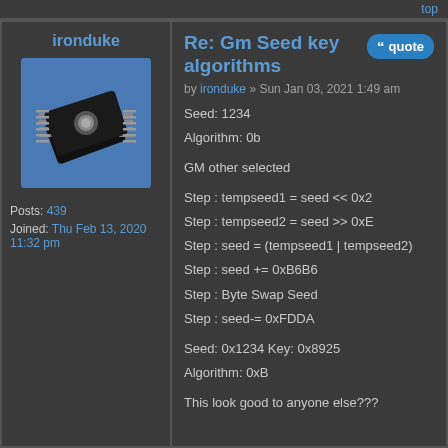top
ironduke
[Figure (photo): Avatar image of a microchip/IC chip on a blue background]
Posts: 439
Joined: Thu Feb 13, 2020 11:32 pm
Re: Gm Seed key algorithms
by ironduke » Sun Jan 03, 2021 1:49 am
Seed: 1234
Algorithm: 0b

GM other selected

Step : tempseed1 = seed << 0x2
Step : tempseed2 = seed >> 0xE
Step : seed = (tempseed1 | tempseed2)
Step : seed += 0xB6B6
Step : Byte Swap Seed
Step : seed-= 0xFDDA

Seed: 0x1234 Key: 0x8925
Algorithm: 0xB

This look good to anyone else???